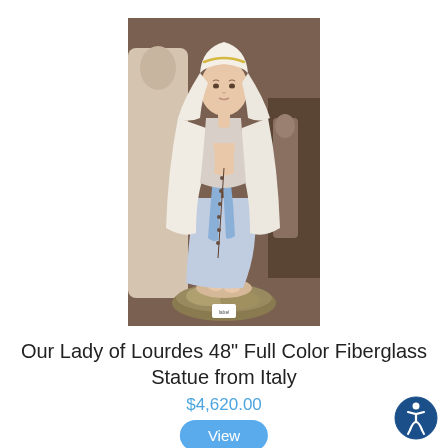[Figure (photo): A fiberglass statue of Our Lady of Lourdes, 48 inches tall, painted in full color with a white mantle and blue dress, hands clasped in prayer, standing on a rock base with a rosary, photographed in a showroom setting with other statues in the background.]
Our Lady of Lourdes 48" Full Color Fiberglass Statue from Italy
$4,620.00
View